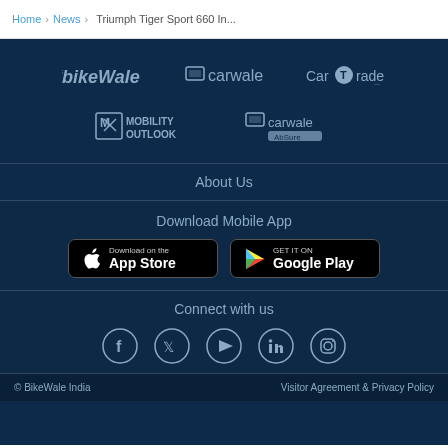Home > News > Triumph Tiger Sport 660 In...
[Figure (logo): BikeWale logo]
[Figure (logo): CarWale logo]
[Figure (logo): CarTrade logo]
[Figure (logo): Mobility Outlook logo]
[Figure (logo): CarWale AbSure logo]
About Us
Download Mobile App
[Figure (screenshot): Download on the App Store button]
[Figure (screenshot): Get it on Google Play button]
Connect with us
[Figure (infographic): Social media icons: Facebook, Twitter, YouTube, LinkedIn, Instagram]
© BikeWale India    Visitor Agreement & Privacy Policy